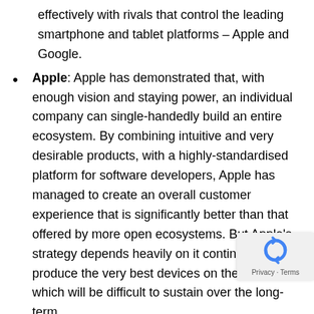effectively with rivals that control the leading smartphone and tablet platforms – Apple and Google.
Apple: Apple has demonstrated that, with enough vision and staying power, an individual company can single-handedly build an entire ecosystem. By combining intuitive and very desirable products, with a highly-standardised platform for software developers, Apple has managed to create an overall customer experience that is significantly better than that offered by more open ecosystems. But Apple's strategy depends heavily on it continuing to produce the very best devices on the market, which will be difficult to sustain over the long-term.
Facebook: A compelling example of how to build a business on network effects. It took Facebook four years of hard work to reach a tipping point of 100 million users, but the social networking service has been